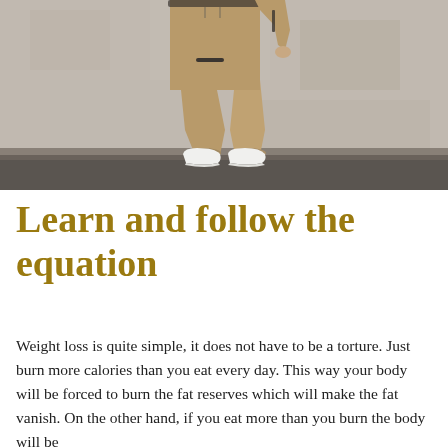[Figure (photo): A man wearing a tan/beige tracksuit with dark accent zippers, standing in a casual pose against a concrete wall. White sneakers visible. Torso and legs visible, head cropped out.]
Learn and follow the equation
Weight loss is quite simple, it does not have to be a torture. Just burn more calories than you eat every day. This way your body will be forced to burn the fat reserves which will make the fat vanish. On the other hand, if you eat more than you burn the body will be